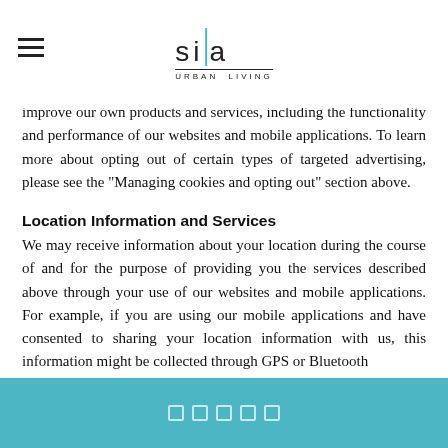SiA URBAN LIVING
or third-party cookies, pixels and web beacons when you visit our website or use our mobile applications. In some instances, these cookies may be persistent cookies. We do this to provide you with advertising that we believe may be relevant for you as well as improve our own products and services, including the functionality and performance of our websites and mobile applications. To learn more about opting out of certain types of targeted advertising, please see the “Managing cookies and opting out” section above.
Location Information and Services
We may receive information about your location during the course of and for the purpose of providing you the services described above through your use of our websites and mobile applications. For example, if you are using our mobile applications and have consented to sharing your location information with us, this information might be collected through GPS or Bluetooth
□□□□□